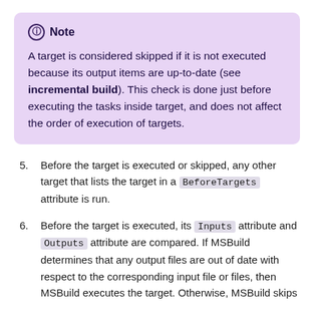Note — A target is considered skipped if it is not executed because its output items are up-to-date (see incremental build). This check is done just before executing the tasks inside target, and does not affect the order of execution of targets.
5. Before the target is executed or skipped, any other target that lists the target in a BeforeTargets attribute is run.
6. Before the target is executed, its Inputs attribute and Outputs attribute are compared. If MSBuild determines that any output files are out of date with respect to the corresponding input file or files, then MSBuild executes the target. Otherwise, MSBuild skips